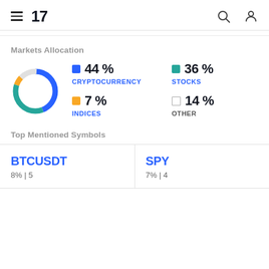TradingView navigation header with hamburger menu, logo, search icon, and user icon
Markets Allocation
[Figure (donut-chart): Markets Allocation]
Top Mentioned Symbols
BTCUSDT
8% | 5
SPY
7% | 4